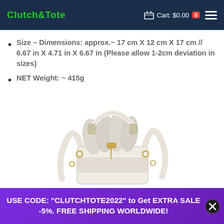Clutch & Tote | Cart: $0.00 | 0
Size – Dimensions: approx.~ 17 cm X 12 cm X 17 cm // 6.67 in X 4.71 in X 6.67 in (Please allow 1-2cm deviation in sizes)
NET Weight: ~ 415g
[Figure (photo): Top view of a cream/beige bucket bag with gold hardware, drawstring closure, and shoulder strap, shown against white background]
USE CODE: "CLUTCHTOTE2022" to Get EXTRA SALE -5%. FREE SHIPPING WORLDWIDE!